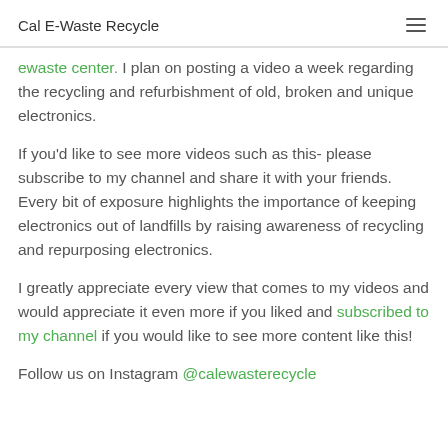Cal E-Waste Recycle
ewaste center. I plan on posting a video a week regarding the recycling and refurbishment of old, broken and unique electronics.
If you'd like to see more videos such as this- please subscribe to my channel and share it with your friends. Every bit of exposure highlights the importance of keeping electronics out of landfills by raising awareness of recycling and repurposing electronics.
I greatly appreciate every view that comes to my videos and would appreciate it even more if you liked and subscribed to my channel if you would like to see more content like this!
Follow us on Instagram @calewasterecycle